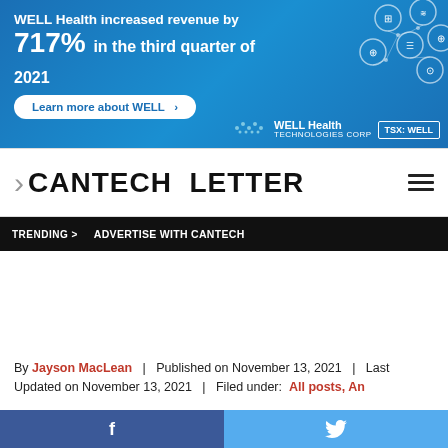[Figure (infographic): WELL Health Technologies Corp advertisement banner. Blue background with tech icons in circles. Text: 'WELL Health increased revenue by 717% in the third quarter of 2021'. Button: 'Learn more about WELL >'. Logo: WELL Health Technologies Corp, TSX: WELL]
> CANTECH LETTER
TRENDING > ADVERTISE WITH CANTECH
By Jayson MacLean | Published on November 13, 2021 | Last Updated on November 13, 2021 | Filed under: All posts, An...